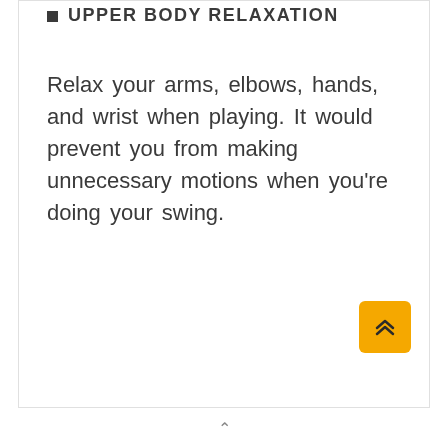UPPER BODY RELAXATION
Relax your arms, elbows, hands, and wrist when playing. It would prevent you from making unnecessary motions when you're doing your swing.
[Figure (other): Orange scroll-to-top button with double chevron up arrow]